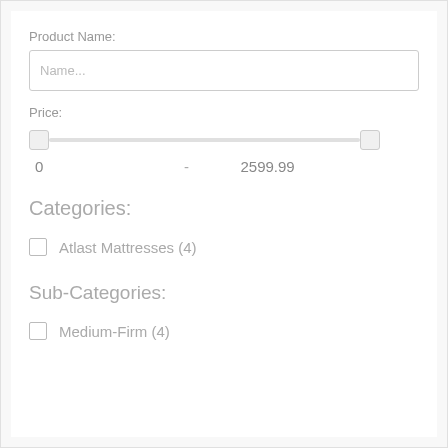Product Name:
Name...
Price:
0 - 2599.99
Categories:
Atlast Mattresses (4)
Sub-Categories:
Medium-Firm (4)